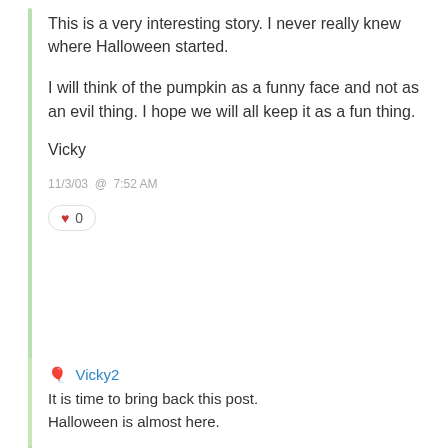This is a very interesting story. I never really knew where Halloween started.
I will think of the pumpkin as a funny face and not as an evil thing. I hope we will all keep it as a fun thing.
Vicky
11/3/03 @ 7:52 AM
0
Vicky2
It is time to bring back this post.
Halloween is almost here.